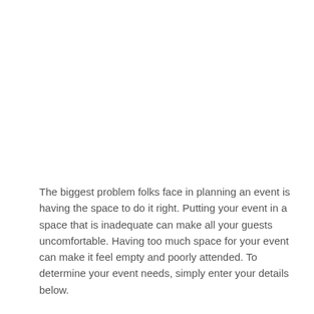The biggest problem folks face in planning an event is having the space to do it right. Putting your event in a space that is inadequate can make all your guests uncomfortable. Having too much space for your event can make it feel empty and poorly attended. To determine your event needs, simply enter your details below.
When selecting the size of your dance floor, a